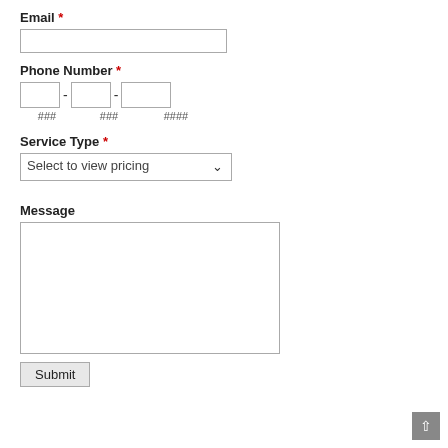Email *
(email input field)
Phone Number *
### - ### - ####
Service Type *
Select to view pricing
Message
(textarea)
Submit